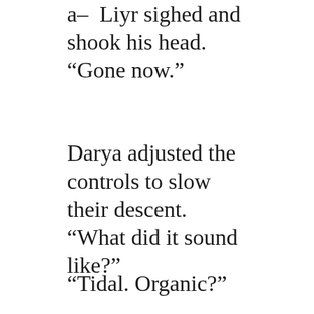a– Liyr sighed and shook his head. “Gone now.”
Darya adjusted the controls to slow their descent. “What did it sound like?”
“Tidal. Organic?”